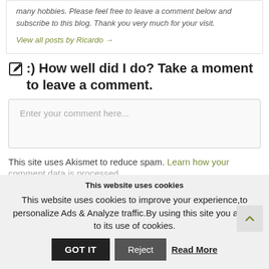many hobbies. Please feel free to leave a comment below and subscribe to this blog. Thank you very much for your visit.
View all posts by Ricardo →
:) How well did I do? Take a moment to leave a comment.
Enter your comment here...
This site uses Akismet to reduce spam. Learn how your comment data is processed
This website uses cookies
This website uses cookies to improve your experience,to personalize Ads & Analyze traffic.By using this site you agree to its use of cookies.